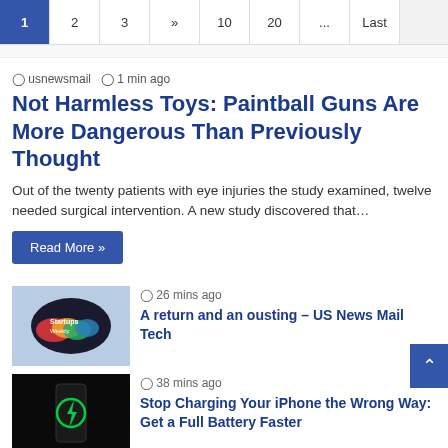Pagination: 1 2 3 » 10 20 ... Last
usnewsmail  1 min ago
Not Harmless Toys: Paintball Guns Are More Dangerous Than Previously Thought
Out of the twenty patients with eye injuries the study examined, twelve needed surgical intervention. A new study discovered that…
Read More »
[Figure (photo): Startups Weekly logo with colorful paint splash on dark background]
26 mins ago  A return and an ousting – US News Mail Tech
[Figure (photo): Black background with glowing green battery/charging icon on a smartphone]
38 mins ago  Stop Charging Your iPhone the Wrong Way: Get a Full Battery Faster
[Figure (photo): Birds (flamingos or egrets) in a wetland landscape]
52 mins ago  African migratory birds threatened by hot,